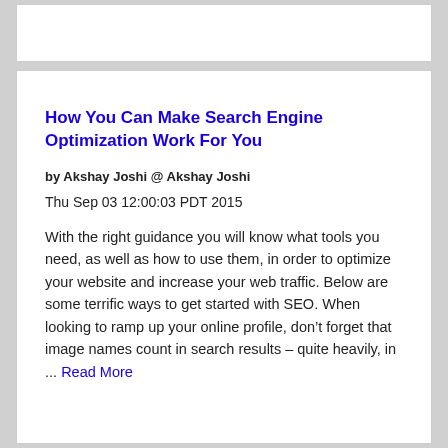How You Can Make Search Engine Optimization Work For You
by Akshay Joshi @ Akshay Joshi
Thu Sep 03 12:00:03 PDT 2015
With the right guidance you will know what tools you need, as well as how to use them, in order to optimize your website and increase your web traffic. Below are some terrific ways to get started with SEO. When looking to ramp up your online profile, don’t forget that image names count in search results – quite heavily, in ... Read More